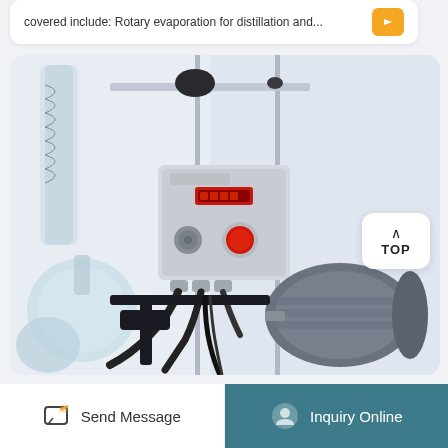covered include: Rotary evaporation for distillation and...
[Figure (photo): Laboratory rotary evaporator equipment showing a motor drive unit, control panel with red button and knob, glass flask, condenser column, and connecting tubes mounted on a metal frame stand]
Send Message
Inquiry Online